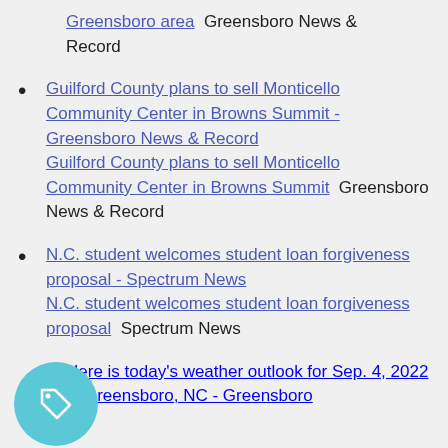Greensboro area  Greensboro News & Record
Guilford County plans to sell Monticello Community Center in Browns Summit - Greensboro News & Record  Guilford County plans to sell Monticello Community Center in Browns Summit  Greensboro News & Record
N.C. student welcomes student loan forgiveness proposal - Spectrum News  N.C. student welcomes student loan forgiveness proposal  Spectrum News
Here is today's weather outlook for Sep. 4, 2022 in Greensboro, NC - Greensboro